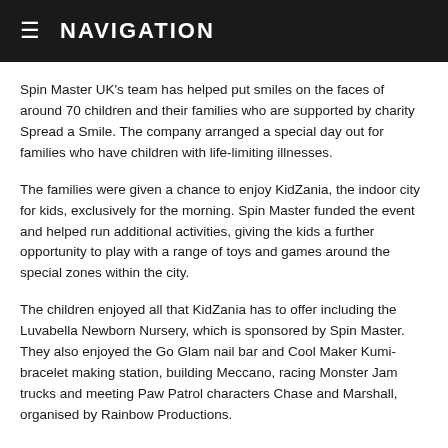≡  NAVIGATION
Spin Master UK's team has helped put smiles on the faces of around 70 children and their families who are supported by charity Spread a Smile. The company arranged a special day out for families who have children with life-limiting illnesses.
The families were given a chance to enjoy KidZania, the indoor city for kids, exclusively for the morning. Spin Master funded the event and helped run additional activities, giving the kids a further opportunity to play with a range of toys and games around the special zones within the city.
The children enjoyed all that KidZania has to offer including the Luvabella Newborn Nursery, which is sponsored by Spin Master. They also enjoyed the Go Glam nail bar and Cool Maker Kumi-bracelet making station, building Meccano, racing Monster Jam trucks and meeting Paw Patrol characters Chase and Marshall, organised by Rainbow Productions.